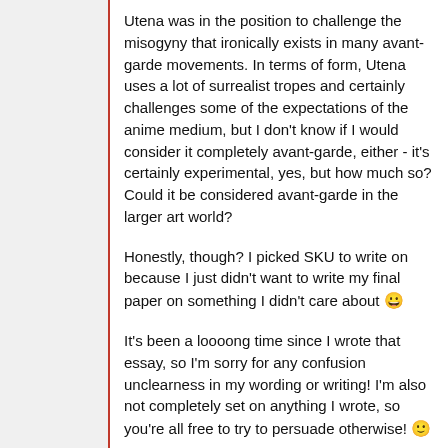Utena was in the position to challenge the misogyny that ironically exists in many avant-garde movements. In terms of form, Utena uses a lot of surrealist tropes and certainly challenges some of the expectations of the anime medium, but I don't know if I would consider it completely avant-garde, either - it's certainly experimental, yes, but how much so? Could it be considered avant-garde in the larger art world?
Honestly, though? I picked SKU to write on because I just didn't want to write my final paper on something I didn't care about 😀
It's been a loooong time since I wrote that essay, so I'm sorry for any confusion unclearness in my wording or writing! I'm also not completely set on anything I wrote, so you're all free to try to persuade otherwise! 🙂
Also, slightly off-topic, but I was reading